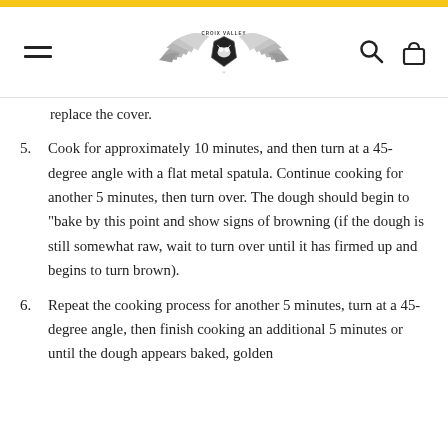Croix Valley (logo with navigation)
replace the cover.
5. Cook for approximately 10 minutes, and then turn at a 45-degree angle with a flat metal spatula. Continue cooking for another 5 minutes, then turn over. The dough should begin to "bake by this point and show signs of browning (if the dough is still somewhat raw, wait to turn over until it has firmed up and begins to turn brown).
6. Repeat the cooking process for another 5 minutes, turn at a 45-degree angle, then finish cooking an additional 5 minutes or until the dough appears baked, golden